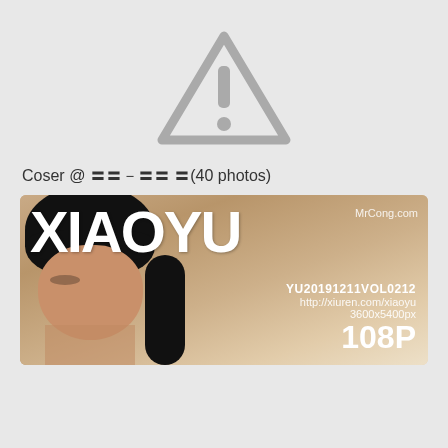[Figure (illustration): Warning/caution triangle icon with exclamation mark on gray background]
Coser @ 〓〓－〓〓 〓(40 photos)
[Figure (photo): XIAOYU magazine cover thumbnail showing a woman with dark hair. Overlay text includes XIAOYU title, MrCong.com watermark, YU20191211VOL0212, http://xiuren.com/xiaoyu, 3600x5400px, 108P]